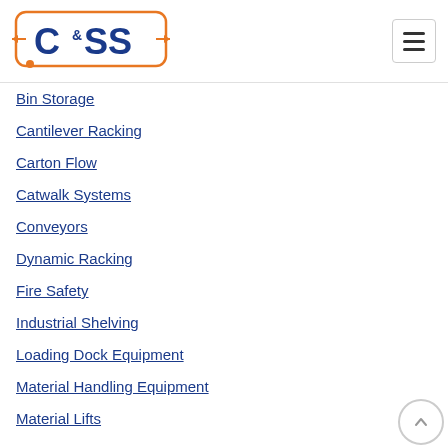[Figure (logo): C&SS company logo in blue text inside orange rounded rectangle border with arrows on sides]
Bin Storage
Cantilever Racking
Carton Flow
Catwalk Systems
Conveyors
Dynamic Racking
Fire Safety
Industrial Shelving
Loading Dock Equipment
Material Handling Equipment
Material Lifts